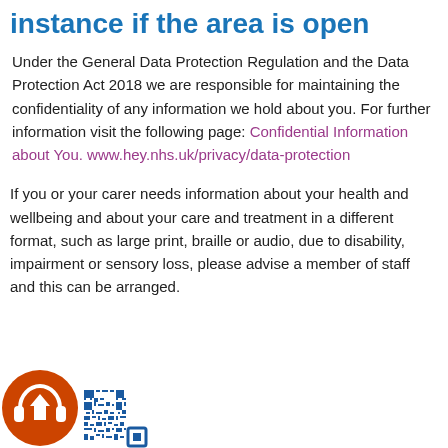instance if the area is open
Under the General Data Protection Regulation and the Data Protection Act 2018 we are responsible for maintaining the confidentiality of any information we hold about you. For further information visit the following page: Confidential Information about You. www.hey.nhs.uk/privacy/data-protection
If you or your carer needs information about your health and wellbeing and about your care and treatment in a different format, such as large print, braille or audio, due to disability, impairment or sensory loss, please advise a member of staff and this can be arranged.
[Figure (logo): Orange circle with headphones/audio icon and a QR code next to it]